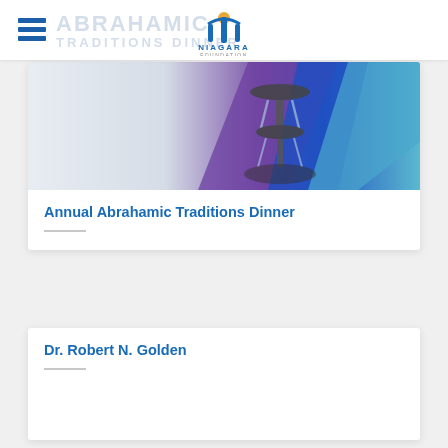Niagara Foundation — Abrahamic Traditions Dinner
[Figure (photo): Hero image of a fountain sculpture with water flowing, set against a geometric purple and blue background]
Annual Abrahamic Traditions Dinner
Dr. Robert N. Golden